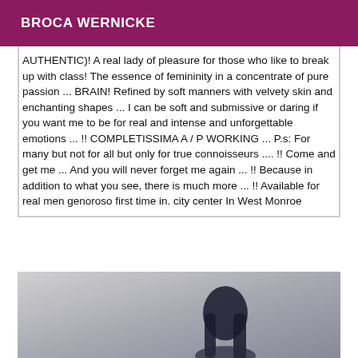BROCA WERNICKE
AUTHENTIC)! A real lady of pleasure for those who like to break up with class! The essence of femininity in a concentrate of pure passion ... BRAIN! Refined by soft manners with velvety skin and enchanting shapes ... I can be soft and submissive or daring if you want me to be for real and intense and unforgettable emotions ... !! COMPLETISSIMA A / P WORKING ... P.s: For many but not for all but only for true connoisseurs .... !! Come and get me ... And you will never forget me again ... !! Because in addition to what you see, there is much more ... !! Available for real men genoroso first time in. city center In West Monroe
[Figure (photo): Photo of a woman with long dark hair, partial view, against a neutral background]